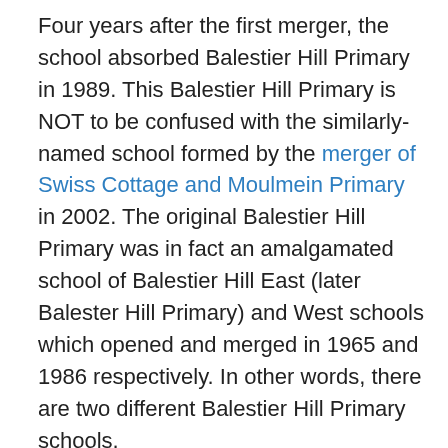Four years after the first merger, the school absorbed Balestier Hill Primary in 1989. This Balestier Hill Primary is NOT to be confused with the similarly-named school formed by the merger of Swiss Cottage and Moulmein Primary in 2002. The original Balestier Hill Primary was in fact an amalgamated school of Balestier Hill East (later Balester Hill Primary) and West schools which opened and merged in 1965 and 1986 respectively. In other words, there are two different Balestier Hill Primary schools.
Over 2000 students from its parent schools moved to the new four-storey building built along Ah Hood Road. Lee Kuo Chuan Primary was the 23rd school to be built in Toa Payoh and over the years, it had been popular with foreign students from Indonesia, Taiwan and Malaysia.